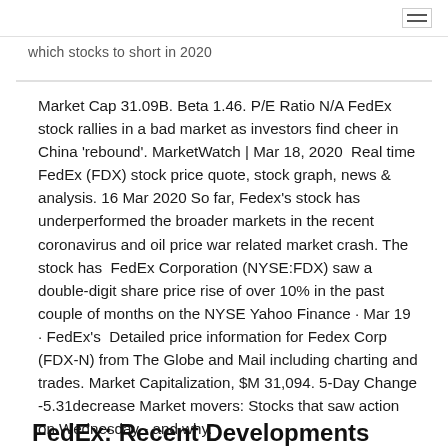which stocks to short in 2020
Market Cap 31.09B. Beta 1.46. P/E Ratio N/A FedEx stock rallies in a bad market as investors find cheer in China 'rebound'. MarketWatch | Mar 18, 2020  Real time FedEx (FDX) stock price quote, stock graph, news & analysis. 16 Mar 2020 So far, Fedex's stock has underperformed the broader markets in the recent coronavirus and oil price war related market crash. The stock has  FedEx Corporation (NYSE:FDX) saw a double-digit share price rise of over 10% in the past couple of months on the NYSE Yahoo Finance · Mar 19 · FedEx's  Detailed price information for Fedex Corp (FDX-N) from The Globe and Mail including charting and trades. Market Capitalization, $M 31,094. 5-Day Change -5.31decrease Market movers: Stocks that saw action on Wednesday - and why.
FedEx: Recent Developments Suggest A Clear Path To $300 ...